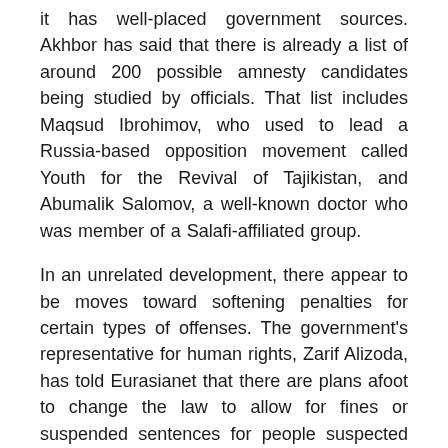it has well-placed government sources. Akhbor has said that there is already a list of around 200 possible amnesty candidates being studied by officials. That list includes Maqsud Ibrohimov, who used to lead a Russia-based opposition movement called Youth for the Revival of Tajikistan, and Abumalik Salomov, a well-known doctor who was member of a Salafi-affiliated group.
In an unrelated development, there appear to be moves toward softening penalties for certain types of offenses. The government's representative for human rights, Zarif Alizoda, has told Eurasianet that there are plans afoot to change the law to allow for fines or suspended sentences for people suspected of affiliation with radical religious groups, instead of the mandatory prison time now envisioned.
“That will ensure that Tajik prisons are not so overcrowded, as they are now,” Alizoda said.